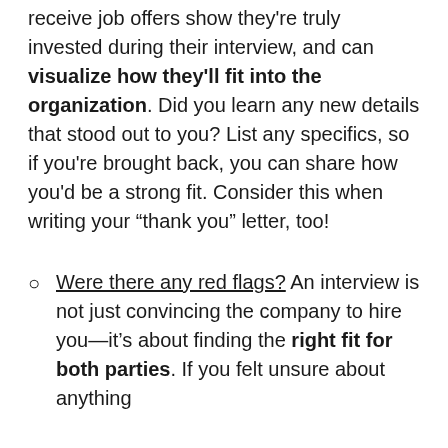receive job offers show they're truly invested during their interview, and can visualize how they'll fit into the organization. Did you learn any new details that stood out to you? List any specifics, so if you're brought back, you can share how you'd be a strong fit. Consider this when writing your “thank you” letter, too!
Were there any red flags? An interview is not just convincing the company to hire you—it’s about finding the right fit for both parties. If you felt unsure about anything